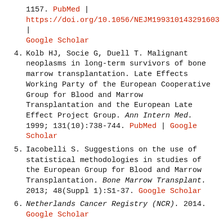(continuation) 1157. PubMed | https://doi.org/10.1056/NEJM199310143291603 | Google Scholar
4. Kolb HJ, Socie G, Duell T. Malignant neoplasms in long-term survivors of bone marrow transplantation. Late Effects Working Party of the European Cooperative Group for Blood and Marrow Transplantation and the European Late Effect Project Group. Ann Intern Med. 1999; 131(10):738-744. PubMed | Google Scholar
5. Iacobelli S. Suggestions on the use of statistical methodologies in studies of the European Group for Blood and Marrow Transplantation. Bone Marrow Transplant. 2013; 48(Suppl 1):S1-37. Google Scholar
6. Netherlands Cancer Registry (NCR). 2014. Google Scholar
7. Tichelli A, Gratwohl A, Nissen C. Late clonal